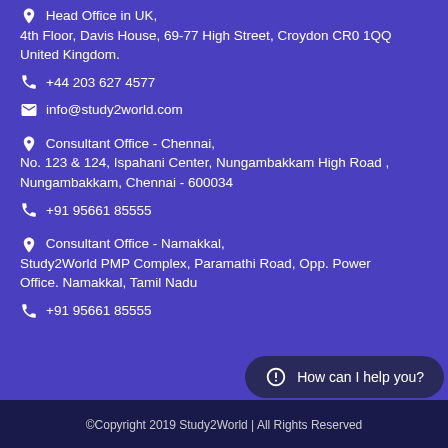Head Office in UK, 4th Floor, Davis House, 69-77 High Street, Croydon CR0 1QQ United Kingdom.
📞 +44 203 627 4577
✉ info@study2world.com
📍 Consultant Office - Chennai, No. 123 & 124, Ispahani Center, Nungambakkam High Road , Nungambakkam, Chennai - 600034
📞 +91 95661 85555
📍 Consultant Office - Namakkal, Study2World PMP Complex, Paramathi Road, Opp. Power Office. Namakkal, Tamil Nadu
📞 +91 95661 85555
How can I help you?
©Copyright 2019 Study2World | All Rights Reserved